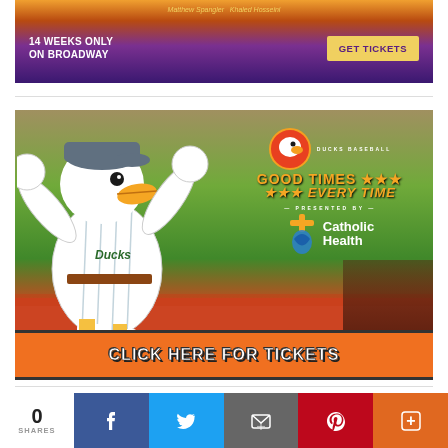[Figure (photo): Broadway show advertisement: '14 WEEKS ONLY ON BROADWAY' with GET TICKETS button, authors Matthew Spangler and Khaled Hosseini, purple/orange desert background]
[Figure (photo): Ducks Baseball advertisement showing mascot duck character in baseball uniform with arms raised, logo with 'GOOD TIMES *** EVERY TIME', 'PRESENTED BY Catholic Health', and 'CLICK HERE FOR TICKETS' orange button at bottom]
0 SHARES
[Figure (infographic): Social share bar with Facebook, Twitter, Email, Pinterest, and More (+) buttons]